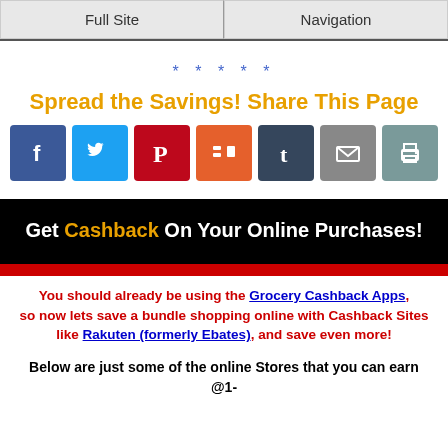Full Site | Navigation
* * * * *
Spread the Savings! Share This Page
[Figure (infographic): Row of 7 social share icon buttons: Facebook (blue), Twitter (light blue), Pinterest (red), Mix (orange), Tumblr (dark blue), Email (gray), Print (gray-green)]
Get Cashback On Your Online Purchases!
You should already be using the Grocery Cashback Apps, so now lets save a bundle shopping online with Cashback Sites like Rakuten (formerly Ebates), and save even more!
Below are just some of the online Stores that you can earn @1-